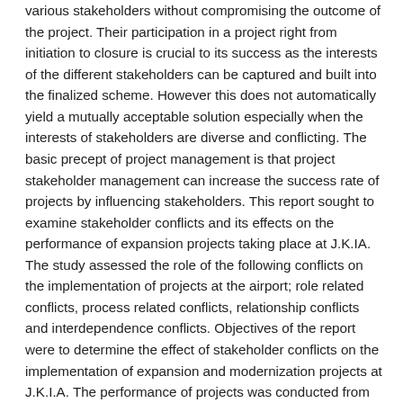various stakeholders without compromising the outcome of the project. Their participation in a project right from initiation to closure is crucial to its success as the interests of the different stakeholders can be captured and built into the finalized scheme. However this does not automatically yield a mutually acceptable solution especially when the interests of stakeholders are diverse and conflicting. The basic precept of project management is that project stakeholder management can increase the success rate of projects by influencing stakeholders. This report sought to examine stakeholder conflicts and its effects on the performance of expansion projects taking place at J.K.IA. The study assessed the role of the following conflicts on the implementation of projects at the airport; role related conflicts, process related conflicts, relationship conflicts and interdependence conflicts. Objectives of the report were to determine the effect of stakeholder conflicts on the implementation of expansion and modernization projects at J.K.I.A. The performance of projects was conducted from the parameters of cost, quality and timelines of completion of projects.  The study used descriptive design and the study population will be drawn from Kenya Airports Authority who is the airport owner, Kenya Civil Aviation who is the regulatory body, Airlines and Handling Agents and service facilitators. Sampling techniques included the use of stratified sampling to select a sample of 114 respondents from